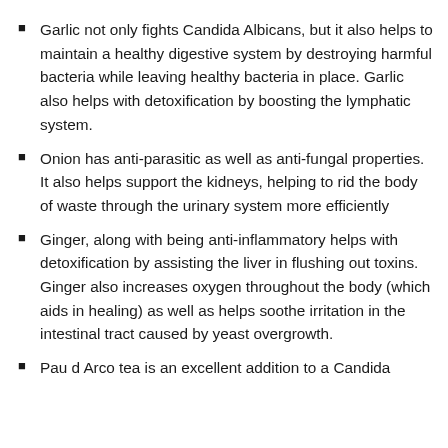Garlic not only fights Candida Albicans, but it also helps to maintain a healthy digestive system by destroying harmful bacteria while leaving healthy bacteria in place.  Garlic also helps with detoxification by boosting the lymphatic system.
Onion has anti-parasitic as well as anti-fungal properties.  It also helps support the kidneys, helping to rid the body of waste through the urinary system more efficiently
Ginger, along with being anti-inflammatory helps with detoxification by assisting the liver in flushing out toxins.  Ginger also increases oxygen throughout the body (which aids in healing) as well as helps soothe irritation in the intestinal tract caused by yeast overgrowth.
Pau d Arco tea is an excellent addition to a Candida